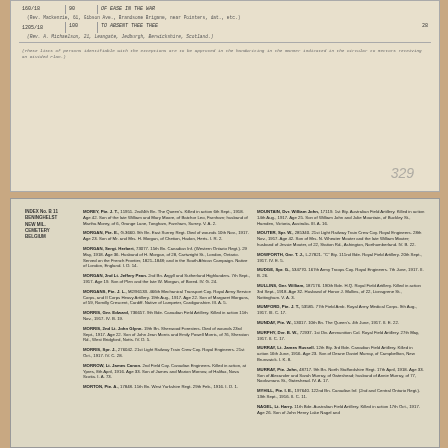[Figure (photo): Scanned document page showing a military register or roll with handwritten/typed entries in a table format, with a stamped number '329' at the bottom right.]
[Figure (photo): Scanned page from a Commonwealth War Graves Commission memorial register showing two columns of alphabetical casualty entries for surnames MOREY through MORTON and MOUNTAIN through NAGEL, with index label 'INDEX No. B 11 BENINGHELST NEW MIL. CEMETERY BELGIUM' on the left margin.]